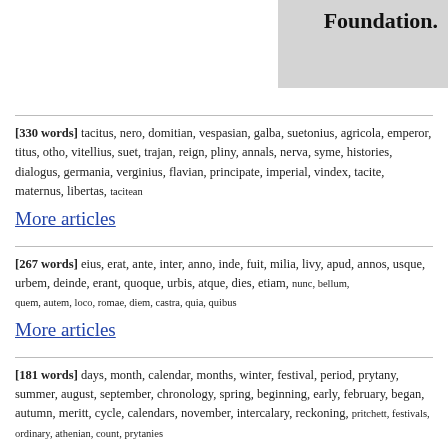Foundation.
[330 words] tacitus, nero, domitian, vespasian, galba, suetonius, agricola, emperor, titus, otho, vitellius, suet, trajan, reign, pliny, annals, nerva, syme, histories, dialogus, germania, verginius, flavian, principate, imperial, vindex, tacite, maternus, libertas, tacitean
More articles
[267 words] eius, erat, ante, inter, anno, inde, fuit, milia, livy, apud, annos, usque, urbem, deinde, erant, quoque, urbis, atque, dies, etiam, nunc, bellum, quem, autem, loco, romae, diem, castra, quia, quibus
More articles
[181 words] days, month, calendar, months, winter, festival, period, prytany, summer, august, september, chronology, spring, beginning, early, february, began, autumn, meritt, cycle, calendars, november, intercalary, reckoning, pritchett, festivals, ordinary, athenian, count, prytanies
More articles